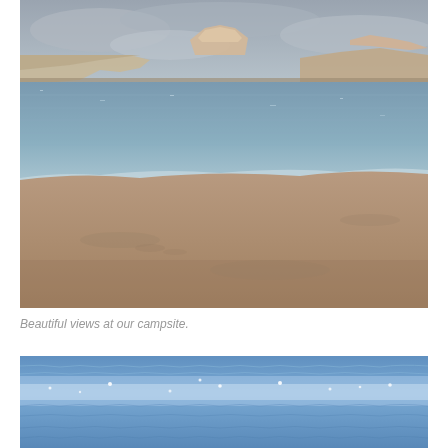[Figure (photo): A lake or reservoir shoreline with calm blue-grey water, sandy beach in the foreground, and reddish rock formations and mesas in the background under a cloudy sky.]
Beautiful views at our campsite.
[Figure (photo): Close-up of sparkling sunlit blue water surface with light reflections creating a shimmering pattern.]